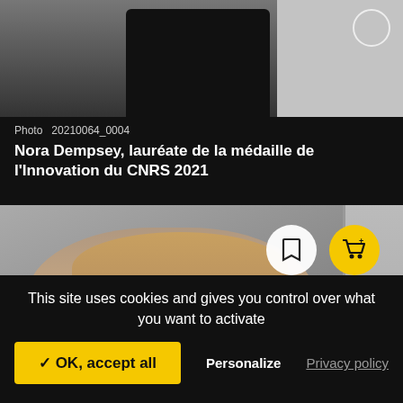[Figure (photo): Top portion of a person in dark clothing against a building background, partially cropped]
Photo  20210064_0004
Nora Dempsey, lauréate de la médaille de l'Innovation du CNRS 2021
[Figure (photo): Portrait photo of a woman with blonde hair, Nora Dempsey, with bookmark and add-to-cart buttons overlaid]
This site uses cookies and gives you control over what you want to activate
✓ OK, accept all
Personalize
Privacy policy